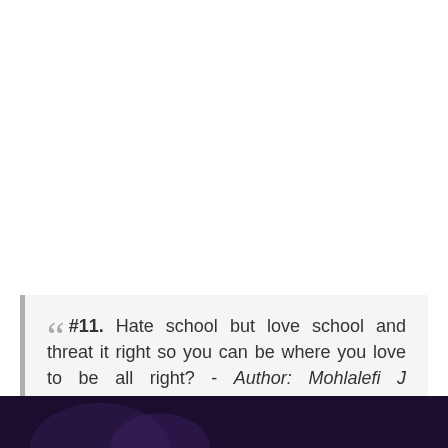#11. Hate school but love school and threat it right so you can be where you love to be all right? - Author: Mohlalefi J Motsima
[Figure (photo): Dark image strip at the bottom of the page, appears to show a dark purple/black background with partial figure]